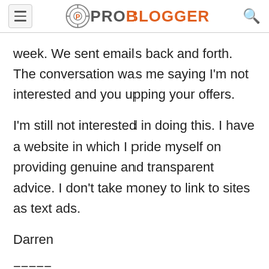ProBlogger
week. We sent emails back and forth. The conversation was me saying I'm not interested and you upping your offers.
I'm still not interested in doing this. I have a website in which I pride myself on providing genuine and transparent advice. I don't take money to link to sites as text ads.
Darren
=====